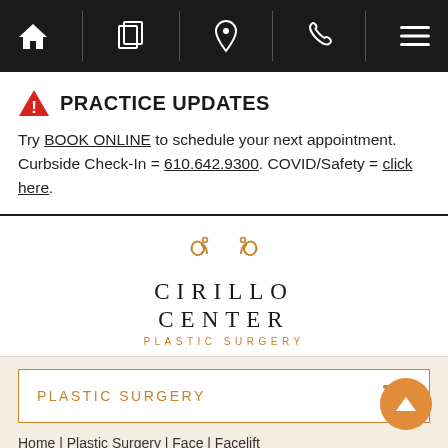Top navigation bar with home, gallery, location, phone, and menu icons
PRACTICE UPDATES
Try BOOK ONLINE to schedule your next appointment. Curbside Check-In = 610.642.9300. COVID/Safety = click here.
[Figure (logo): Cirillo Center Plastic Surgery logo with decorative swirl icon and text]
PLASTIC SURGERY
Home | Plastic Surgery | Face | Facelift
FACELIFT